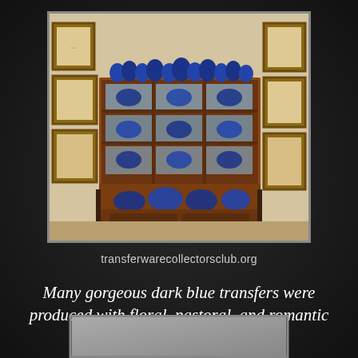[Figure (photo): A wooden hutch/china cabinet displaying blue and white transferware pottery and dishes, surrounded by framed needlework samplers on a cream wall.]
transferwarecollectorsclub.org
Many gorgeous dark blue transfers were produced with floral, pastoral, and romantic themes as well.
[Figure (photo): Partial view of another photo, mostly gray/beige, at the bottom of the page.]